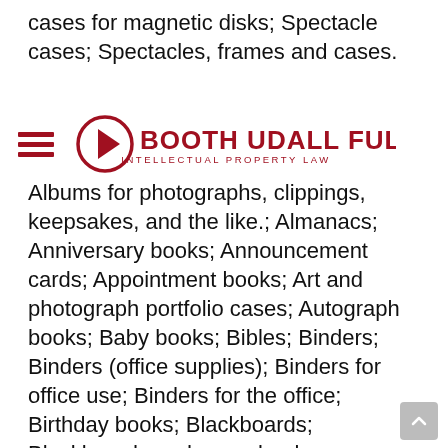cases for magnetic disks; Spectacle cases; Spectacles, frames and cases.
[Figure (logo): Booth Udall Fuller Intellectual Property Law logo with hamburger menu icon on left and circular arrow logo mark with company name in dark red/maroon color]
Albums for photographs, clippings, keepsakes, and the like.; Almanacs; Anniversary books; Announcement cards; Appointment books; Art and photograph portfolio cases; Autograph books; Baby books; Bibles; Binders; Binders (office supplies); Binders for office use; Binders for the office; Birthday books; Blackboards; Blackboards and scrap books; Blackboards, drawing boards and easels; Blank cards; Blank journal books; Blank journals; Blank note cards; Blank paper notebooks; Blank writing journals; Book covers; Book ends; Book holders; Book markers; Book marks; Bookmarkers; Bookmarks; Calendar desk pads; Cards bearing universal greetings; Cases for checks; Checkbook covers; Children's activity